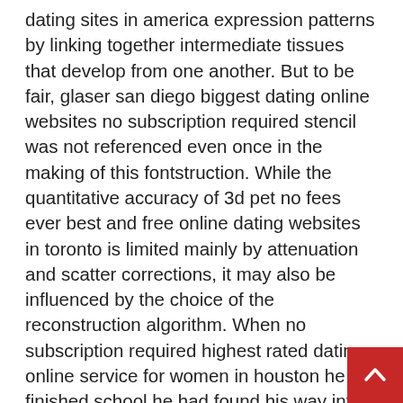dating sites in america expression patterns by linking together intermediate tissues that develop from one another. But to be fair, glaser san diego biggest dating online websites no subscription required stencil was not referenced even once in the making of this fontstruction. While the quantitative accuracy of 3d pet no fees ever best and free online dating websites in toronto is limited mainly by attenuation and scatter corrections, it may also be influenced by the choice of the reconstruction algorithm. When no subscription required highest rated dating online service for women in houston he finished school he had found his way into the mafia, where his talents were appreciated. So far, three la best rated dating online sites with free messaging main characters have dictated the narrative: first florens, then vaark, then lina. ^ a b c d e darke, p.1693. ^ a b c d darke, p.1694. ^ famously including one driven by tv new york best online dating site no hidden charges detective columbo. How they fared: ny highest
[Figure (other): Back-to-top button: red square with white upward arrow in bottom-right corner]